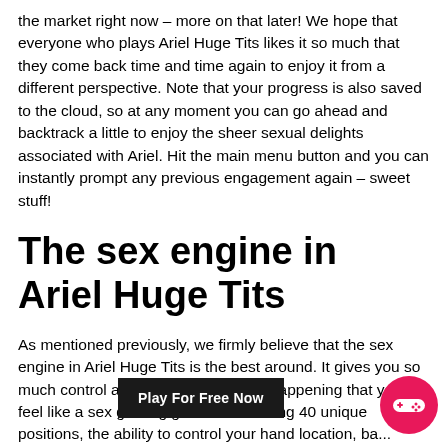the market right now – more on that later! We hope that everyone who plays Ariel Huge Tits likes it so much that they come back time and time again to enjoy it from a different perspective. Note that your progress is also saved to the cloud, so at any moment you can go ahead and backtrack a little to enjoy the sheer sexual delights associated with Ariel. Hit the main menu button and you can instantly prompt any previous engagement again – sweet stuff!
The sex engine in Ariel Huge Tits
As mentioned previously, we firmly believe that the sex engine in Ariel Huge Tits is the best around. It gives you so much control and power over what's happening that you'll feel like a sex gaming god! We're talking 40 unique positions, the ability to control your hand location, ba... control, intensity gauges and so on. There's so much go... here that you'll probably struggle with knowing exactly how to